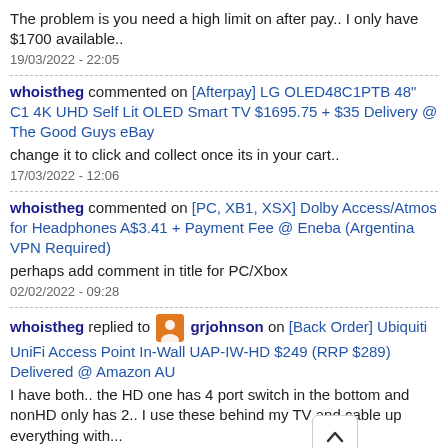The problem is you need a high limit on after pay.. I only have $1700 available..
19/03/2022 - 22:05
whoistheg commented on [Afterpay] LG OLED48C1PTB 48" C1 4K UHD Self Lit OLED Smart TV $1695.75 + $35 Delivery @ The Good Guys eBay
change it to click and collect once its in your cart..
17/03/2022 - 12:06
whoistheg commented on [PC, XB1, XSX] Dolby Access/Atmos for Headphones A$3.41 + Payment Fee @ Eneba (Argentina VPN Required)
perhaps add comment in title for PC/Xbox
02/02/2022 - 09:28
whoistheg replied to grjohnson on [Back Order] Ubiquiti UniFi Access Point In-Wall UAP-IW-HD $249 (RRP $289) Delivered @ Amazon AU
I have both.. the HD one has 4 port switch in the bottom and nonHD only has 2.. I use these behind my TV and cable up everything with...
14/01/2022 - 10:43